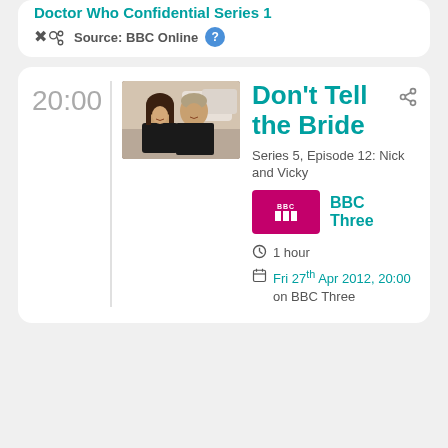Doctor Who Confidential Series 1
Source: BBC Online
20:00
Don't Tell the Bride
Series 5, Episode 12: Nick and Vicky
BBC Three
1 hour
Fri 27th Apr 2012, 20:00 on BBC Three